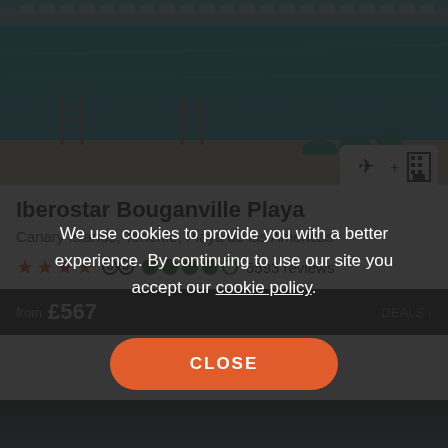[Figure (photo): Aerial view of a hotel swimming pool with blue water, pool ladders, and lounge chairs with teal/green towels on a terrace area]
Iberostar Bouganville Playa
Canary Islands, Tenerife, Playa de las Americas
4 stars, TripAdvisor rating: 4 out of 5 circles, 5593 reviews
from £567 DEALS >
We use cookies to provide you with a better experience. By continuing to use our site you accept our cookie policy.
CLOSE